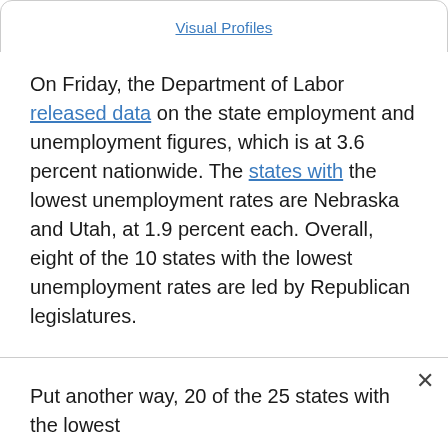Visual Profiles
On Friday, the Department of Labor released data on the state employment and unemployment figures, which is at 3.6 percent nationwide. The states with the lowest unemployment rates are Nebraska and Utah, at 1.9 percent each. Overall, eight of the 10 states with the lowest unemployment rates are led by Republican legislatures.
The top 10 include Nebraska and Utah, as well as Indiana and Minnesota where the rate is at 2.2 percent; Montana, New Hampshire, and South Dakota, where it is at 2.3 percent; Kansas where it is 2.4 percent; Vermont, where it is at 2.5 percent;
Put another way, 20 of the 25 states with the lowest